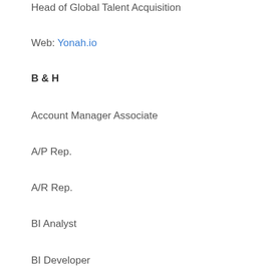Head of Global Talent Acquisition
Web: Yonah.io
B & H
Account Manager Associate
A/P Rep.
A/R Rep.
BI Analyst
BI Developer
Customer Service Rep.
Compliance Associate
GL Accountant